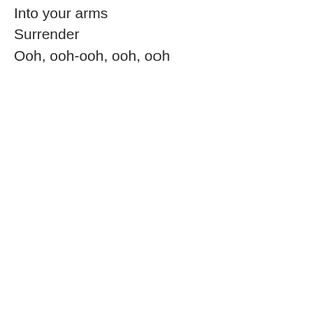Into your arms
Surrender
Ooh, ooh-ooh, ooh, ooh